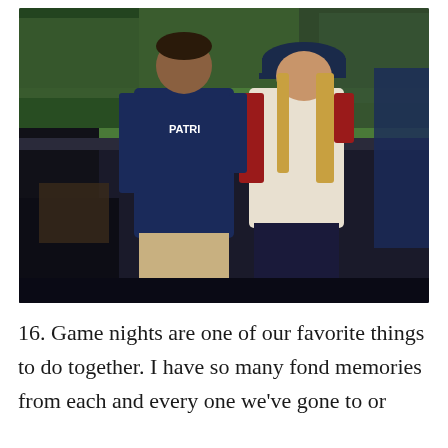[Figure (photo): Two people posing at a baseball stadium. The man on the left wears a navy New England Patriots t-shirt and khaki pants. The woman on the right wears a white and red baseball-style shirt, dark jeans, and a navy Boston Red Sox cap. A green baseball field and stadium seating are visible in the background.]
16. Game nights are one of our favorite things to do together. I have so many fond memories from each and every one we've gone to or